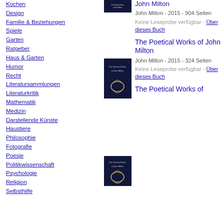Kochen
Design
Familie & Beziehungen
Spiele
Garten
Ratgeber
Haus & Garten
Humor
Recht
Literatursammlungen
Literaturkritik
Mathematik
Medizin
Darstellende Künste
Haustiere
Philosophie
Fotografie
Poesie
Politikwissenschaft
Psychologie
Religion
Selbsthilfe
[Figure (photo): Book cover of The Poetical Works of John Milton - dark navy cover with laurel wreath, top entry]
John Milton - 2015 - 904 Seiten
Keine Leseprobe verfügbar - Über dieses Buch
The Poetical Works of John Milton
[Figure (photo): Book cover of The Poetical Works of John Milton - dark navy cover with laurel wreath, second entry]
John Milton - 2015 - 324 Seiten
Keine Leseprobe verfügbar - Über dieses Buch
The Poetical Works of John Milton
[Figure (photo): Book cover of The Poetical Works of John Milton - dark navy cover with laurel wreath, third entry (partially visible)]
The Poetical Works of